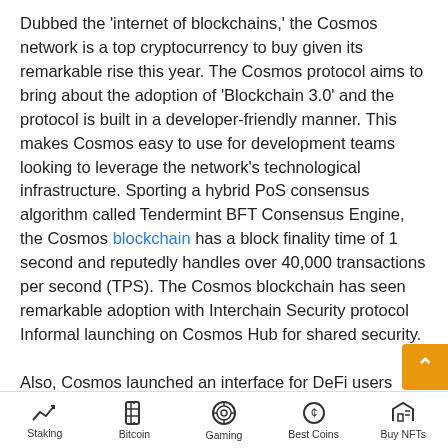Dubbed the 'internet of blockchains,' the Cosmos network is a top cryptocurrency to buy given its remarkable rise this year. The Cosmos protocol aims to bring about the adoption of 'Blockchain 3.0' and the protocol is built in a developer-friendly manner. This makes Cosmos easy to use for development teams looking to leverage the network's technological infrastructure. Sporting a hybrid PoS consensus algorithm called Tendermint BFT Consensus Engine, the Cosmos blockchain has a block finality time of 1 second and reputedly handles over 40,000 transactions per second (TPS). The Cosmos blockchain has seen remarkable adoption with Interchain Security protocol Informal launching on Cosmos Hub for shared security.

Also, Cosmos launched an interface for DeFi users called Emeris. The new update is meant to enable access to a
Staking | Bitcoin | Gaming | Best Coins | Buy NFTs